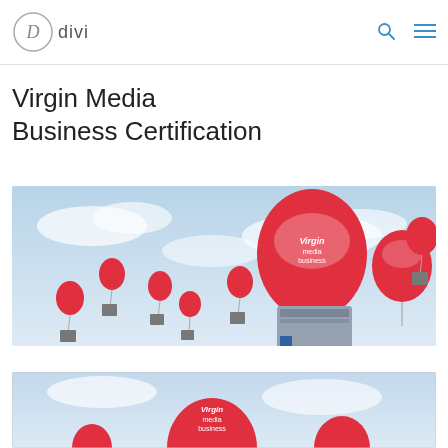divi
Virgin Media Business Certification
[Figure (photo): Red Virgin Media Business branded balloons floating in a blue sky with clouds, lifting grey server/equipment boxes]
[Figure (photo): Partial view of another similar Virgin Media Business balloon image at the bottom of the page]